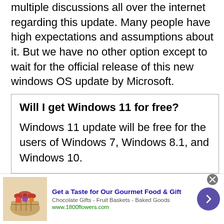multiple discussions all over the internet regarding this update. Many people have high expectations and assumptions about it. But we have no other option except to wait for the official release of this new windows OS update by Microsoft.
Will I get Windows 11 for free?
Windows 11 update will be free for the users of Windows 7, Windows 8.1, and Windows 10.
[Figure (other): Advertisement banner: Get a Taste for Our Gourmet Food & Gift. Chocolate Gifts - Fruit Baskets - Baked Goods. www.1800flowers.com. Shows a gift basket image on the left and a purple arrow button on the right.]